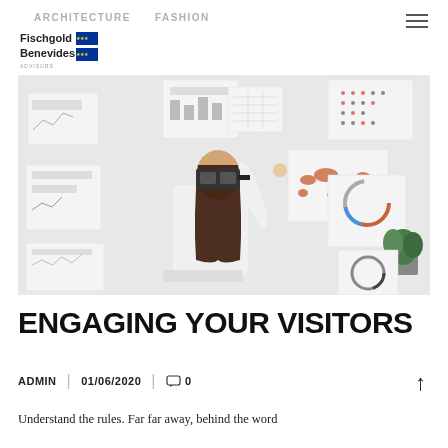ARCHITECTURE   FASHION
[Figure (logo): Fischgold Benevides Advisors logo with EU flag icon]
[Figure (photo): Woman wearing VR headset pointing at wall covered with charts, maps, and infographics in an office setting]
ENGAGING YOUR VISITORS
ADMIN | 01/06/2020 | 💬 0
Understand the rules. Far far away, behind the word